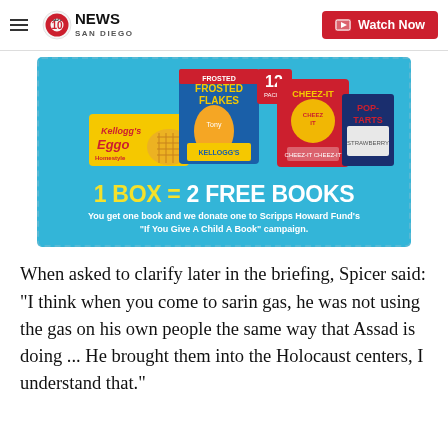abc10 NEWS SAN DIEGO | Watch Now
[Figure (photo): Kellogg's advertisement banner showing Frosted Flakes, Cheez-It, Eggo, and Pop-Tarts products with text '1 BOX = 2 FREE BOOKS. You get one book and we donate one to Scripps Howard Fund's "If You Give A Child A Book" campaign.']
When asked to clarify later in the briefing, Spicer said: "I think when you come to sarin gas, he was not using the gas on his own people the same way that Assad is doing ... He brought them into the Holocaust centers, I understand that."